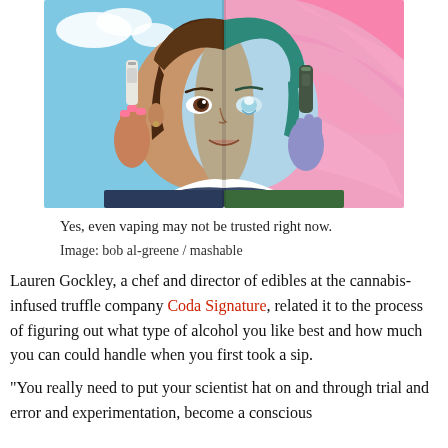[Figure (illustration): Illustrated portrait of a woman split down the middle: left side shows a realistic style with brown hair, holding a vape/cigarette with pink-nailed hand against a blue sky; right side shows a ghostly/spectral style with green hair, glowing eye, holding a dark vape device with purple hand against a colorful rainbow background. The woman wears a collared shirt.]
Yes, even vaping may not be trusted right now.
Image: bob al-greene / mashable
Lauren Gockley, a chef and director of edibles at the cannabis-infused truffle company Coda Signature, related it to the process of figuring out what type of alcohol you like best and how much you can could handle when you first took a sip.
“You really need to put your scientist hat on and through trial and error and experimentation, become a conscious